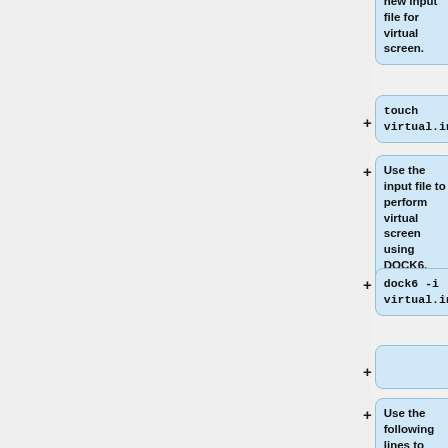[Figure (flowchart): Vertical flowchart showing steps for virtual screen using DOCK6. Steps include: Create a new input file for virtual screen, touch virtual.in, Use the input file to perform virtual screen using DOCK6, dock6 -i virtual.in, (empty step), Use the following lines to answer the prompted questions, conformer_search_type (partial)]
Create a new input file for virtual screen.
touch virtual.in
Use the input file to perform virtual screen using DOCK6.
dock6 -i virtual.in
Use the following lines to answer the prompted questions.
conformer_search_type